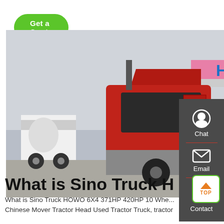[Figure (other): Green rounded rectangle button labeled 'Get a Quote']
[Figure (photo): A red Sino Truck HOWO 6x4 tractor head truck parked outside a dealership with a sign reading 'HOWO 轻卡'. A cement mixer truck is visible in the background on the left, and green industrial equipment on the right.]
[Figure (infographic): Dark grey sidebar panel on the right with three items: Chat (headset icon), Email (envelope icon), Contact (chat bubble icon), separated by red horizontal lines. A green-bordered 'TOP' button with orange arrow at bottom right.]
What is Sino Truck HOWO...
What is Sino Truck HOWO 6X4 371HP 420HP 10 Whe... Chinese Mover Tractor Head Used Tractor Truck, tractor